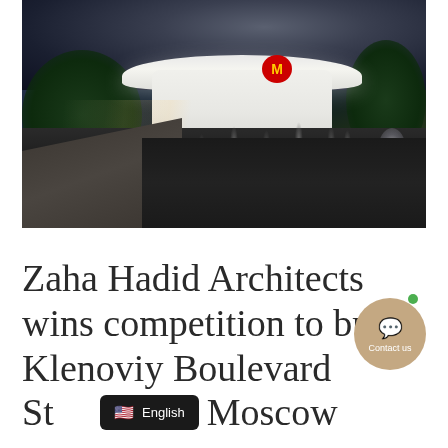[Figure (photo): Architectural rendering of Klenoviy Boulevard metro station at night — a futuristic white elliptical canopy structure with glowing Moscow Metro 'M' sign, surrounded by pedestrians, cobblestone pavement, greenery, and dramatic dark cloudy sky with light streaks from traffic.]
Zaha Hadid Architects wins competition to build Klenoviy Boulevard Station 2 in Moscow